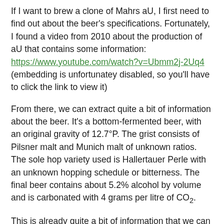If I want to brew a clone of Mahrs aU, I first need to find out about the beer's specifications. Fortunately, I found a video from 2010 about the production of aU that contains some information: https://www.youtube.com/watch?v=Ubmm2j-2Uq4 (embedding is unfortunatey disabled, so you'll have to click the link to view it)
From there, we can extract quite a bit of information about the beer. It's a bottom-fermented beer, with an original gravity of 12.7°P. The grist consists of Pilsner malt and Munich malt of unknown ratios. The sole hop variety used is Hallertauer Perle with an unknown hopping schedule or bitterness. The final beer contains about 5.2% alcohol by volume and is carbonated with 4 grams per litre of CO2.
This is already quite a bit of information that we can work with and construct a recipe out of. Of course, I don't expect the result to be perfect, so this is just a rough first outline. Further changes to this are up to the result of the first brew.